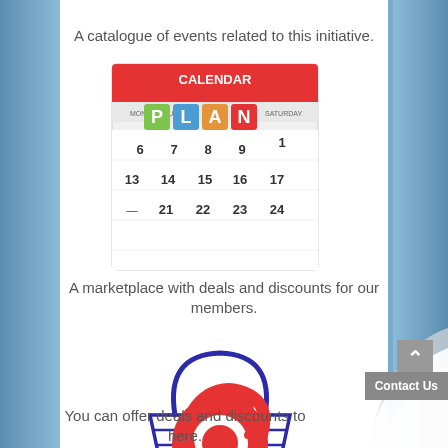A catalogue of events related to this initiative.
[Figure (photo): A calendar image with colorful letter tiles spelling PLAN and calendar dates visible]
A marketplace with deals and discounts for our members.
[Figure (illustration): A blue shopping basket containing a red circular internet/email symbol (@ symbol)]
You can offer deals and discounts to here.